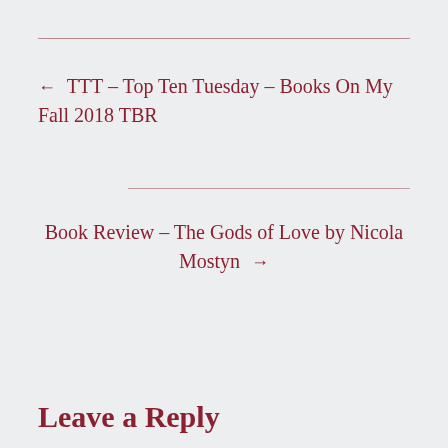← TTT – Top Ten Tuesday – Books On My Fall 2018 TBR
Book Review – The Gods of Love by Nicola Mostyn →
Leave a Reply